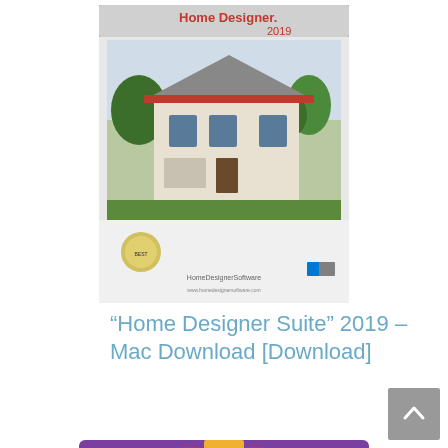[Figure (photo): Home Designer Suite 2019 software box cover showing a house exterior]
“Home Designer Suite” 2019 – Mac Download [Download]
[Figure (photo): Hand cream gift set with colorful tubes and a lip gloss, presented in a purple decorative box]
“Lotion Sets for Women Gift” W/Lip